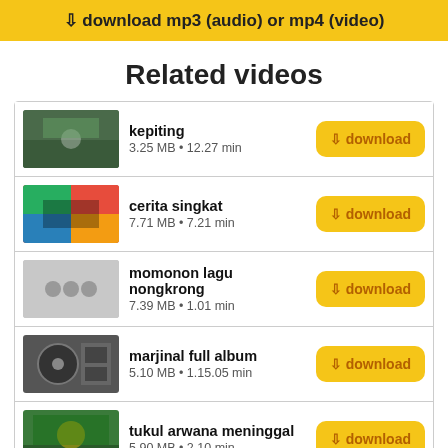⬇ download mp3 (audio) or mp4 (video)
Related videos
kepiting
3.25 MB • 12.27 min
cerita singkat
7.71 MB • 7.21 min
momonon lagu nongkrong
7.39 MB • 1.01 min
marjinal full album
5.10 MB • 1.15.05 min
tukul arwana meninggal
5.90 MB • 2.10 min
reggae munafik
7.33 MB • 3.28 min